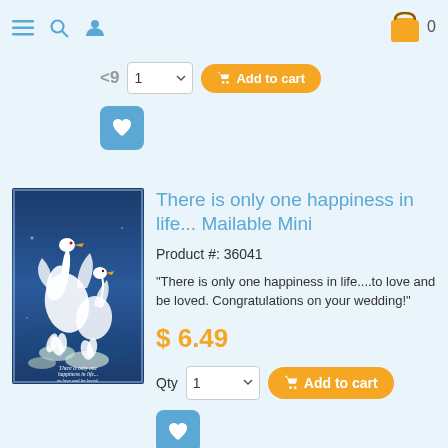Navigation bar with menu, search, user icons and shopping cart (0 items)
[Figure (screenshot): Partial previous product row showing price ~$9, quantity selector defaulting to 1, Add to cart button, and wishlist heart button]
[Figure (photo): Greeting card with two white swans and water lilies on a blue background, with cursive text about happiness and wedding congratulations]
There is only one happiness in life... Mailable Mini
Product #: 36041
"There is only one happiness in life....to love and be loved. Congratulations on your wedding!"
$ 6.49
Qty 1 Add to cart